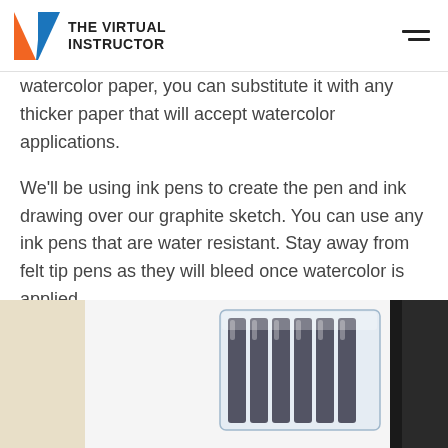THE VIRTUAL INSTRUCTOR
watercolor paper, you can substitute it with any thicker paper that will accept watercolor applications.
We'll be using ink pens to create the pen and ink drawing over our graphite sketch. You can use any ink pens that are water resistant. Stay away from felt tip pens as they will bleed once watercolor is applied.
[Figure (photo): A clear plastic case of ink pen refill cartridges, with a dark book or pad visible on the right side, on a light background.]